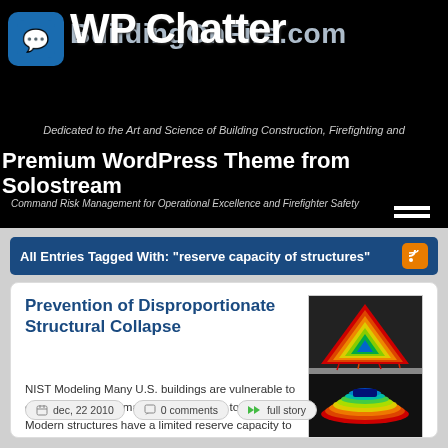WP Chatter | BuildingOnFire.com — Dedicated to the Art and Science of Building Construction, Firefighting and Command Risk Management for Operational Excellence and Firefighter Safety — Premium WordPress Theme from Solostream
All Entries Tagged With: "reserve capacity of structures"
Prevention of Disproportionate Structural Collapse
[Figure (photo): NIST computer modeling images showing structural collapse simulation — colorful 3D layered mesh models of a building floor system]
NIST Modeling Many U.S. buildings are vulnerable to extreme loads that may cause partial or total collapse. Modern structures have a limited reserve capacity to accommodate abnormal loads. There is no accepted science-base or design practice to maintain overall structural robustness within a multi-hazard context that considers both design loads and abnormal loads. The National […]
dec, 22 2010   0 comments   full story